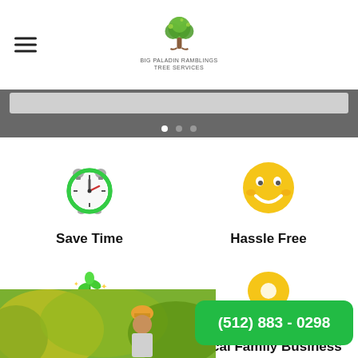[Figure (logo): Tree logo with text for a tree services company]
[Figure (illustration): Website header slider section with gray background and navigation dots]
[Figure (illustration): Alarm clock icon representing Save Time]
Save Time
[Figure (illustration): Smiley face icon representing Hassle Free]
Hassle Free
[Figure (illustration): Coins with plant icon representing Save Money]
Save Money
[Figure (illustration): Map pin location icon representing Local Family Business]
Local Family Business
[Figure (photo): Worker in orange hat near green bushes/trees]
(512) 883 - 0298